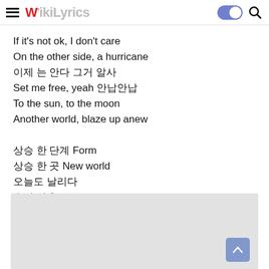WikiLyrics
If it’s not ok, I don’t care
On the other side, a hurricane
이제 는 안다 그거 알사
Set me free, yeah 안답안답
To the sun, to the moon
Another world, blaze up anew

상승 한 단계 Form
상승 한 괃 New world
오늘도 냐리다
우리 마음 Do or die
[Figure (other): Grey advertisement placeholder box with a blue scroll-to-top button in the bottom right corner]